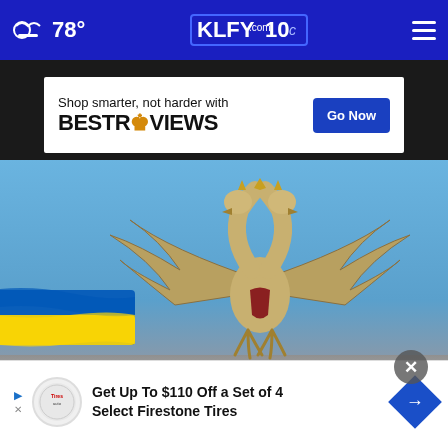78° KLFY.com 10
[Figure (screenshot): BestReviews advertisement banner: 'Shop smarter, not harder with BESTREVIEWS' with a blue 'Go Now' button]
[Figure (photo): A golden double-headed eagle statue against a blue sky, with a Ukrainian flag (blue and yellow) visible at the lower left]
[Figure (screenshot): Firestone Tires advertisement: 'Get Up To $110 Off a Set of 4 Select Firestone Tires' with Firestone logo and blue diamond arrow icon]